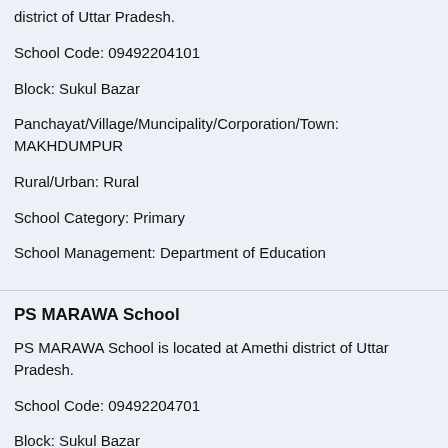district of Uttar Pradesh.
School Code: 09492204101
Block: Sukul Bazar
Panchayat/Village/Muncipality/Corporation/Town: MAKHDUMPUR
Rural/Urban: Rural
School Category: Primary
School Management: Department of Education
PS MARAWA School
PS MARAWA School is located at Amethi district of Uttar Pradesh.
School Code: 09492204701
Block: Sukul Bazar
Panchayat/Village/Muncipality/Corporation/Town: MARAVA